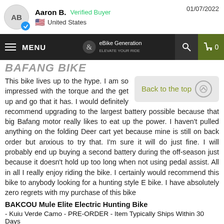Aaron B. Verified Buyer — United States — 01/07/2022
[Figure (screenshot): Website navigation bar for eBike Generation with menu icon, logo, search icon, and cart (0 items)]
This bike lives up to the hype. I am so impressed with the torque and the get up and go that it has. I would definitely recommend upgrading to the largest battery possible because that big Bafang motor really likes to eat up the power. I haven't pulled anything on the folding Deer cart yet because mine is still on back order but anxious to try that. I'm sure it will do just fine. I will probably end up buying a second battery during the off-season just because it doesn't hold up too long when not using pedal assist. All in all I really enjoy riding the bike. I certainly would recommend this bike to anybody looking for a hunting style E bike. I have absolutely zero regrets with my purchase of this bike
BAKCOU Mule Elite Electric Hunting Bike
- Kuiu Verde Camo - PRE-ORDER - Item Typically Ships Within 30 Days
/ 1000W
Share   Was this helpful?  0  0